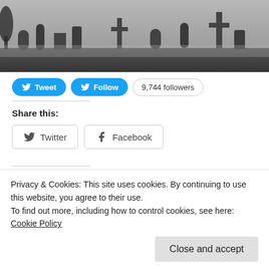[Figure (photo): Black and white photograph of a foggy cemetery with gravestones and crosses]
Tweet  Follow  9,744 followers
Share this:
Twitter  Facebook
Related
Christmas At Kendall Reviews: 'Siphon' Author A. J. Medicali...
Universal Threat Level: Kendall Reviews welcomes Dustin & Bre the best of...
Privacy & Cookies: This site uses cookies. By continuing to use this website, you agree to their use.
To find out more, including how to control cookies, see here: Cookie Policy
Close and accept
In "Kendall Reviews